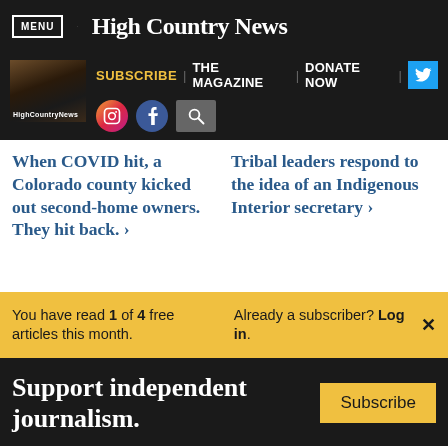MENU | High Country News
SUBSCRIBE | THE MAGAZINE | DONATE NOW
When COVID hit, a Colorado county kicked out second-home owners. They hit back. ›
Tribal leaders respond to the idea of an Indigenous Interior secretary ›
You have read 1 of 4 free articles this month.
Already a subscriber? Log in.
Support independent journalism.
Subscribe